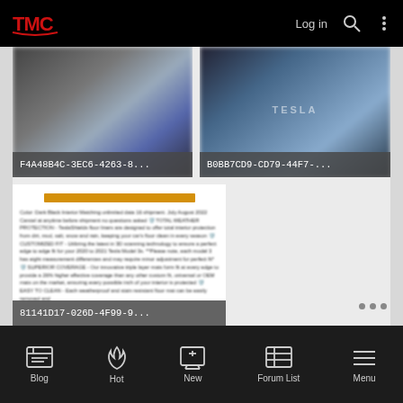TMC — Log in [search] [menu]
[Figure (screenshot): Blurred image card showing a Tesla vehicle and accessories, labeled F4A48B4C-3EC6-4263-8...]
[Figure (screenshot): Blurred image card showing a Tesla vehicle with Tesla logo, labeled B0BB7CD9-CD79-44F7-...]
[Figure (screenshot): Blurred text content card with yellow bar and product description text, labeled 81141D17-026D-4F99-9...]
Blog | Hot | New | Forum List | Menu